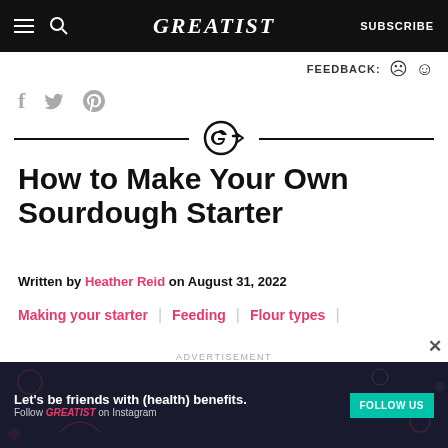GREATIST | SUBSCRIBE
FEEDBACK: 😞 😊
f  🐦  P (social share icons)
[Figure (logo): Greatist G+ logo divider with horizontal lines on each side]
How to Make Your Own Sourdough Starter
Written by Heather Reid on August 31, 2022
Making your starter | Feeding | Flour types |
ADVERTISEMENT
[Figure (infographic): Dark advertisement banner: Let's be friends with (health) benefits. Follow GREATIST on Instagram. FOLLOW US button.]